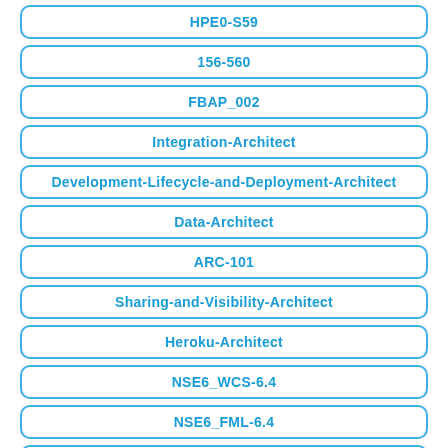HPE0-S59
156-560
FBAP_002
Integration-Architect
Development-Lifecycle-and-Deployment-Architect
Data-Architect
ARC-101
Sharing-and-Visibility-Architect
Heroku-Architect
NSE6_WCS-6.4
NSE6_FML-6.4
Professional-Cloud-Database-Engineer